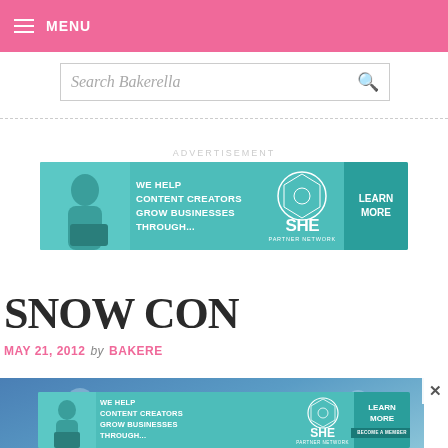MENU
Search Bakerella
[Figure (infographic): SHE Partner Network advertisement banner: WE HELP CONTENT CREATORS GROW BUSINESSES THROUGH... with LEARN MORE button]
SNOW CON
MAY 21, 2012 by BAKERE
[Figure (photo): Blue toned photo with white silhouettes in background, partially visible blog post image]
[Figure (infographic): SHE Partner Network advertisement banner bottom: WE HELP CONTENT CREATORS GROW BUSINESSES THROUGH... with LEARN MORE and BECOME A MEMBER buttons]